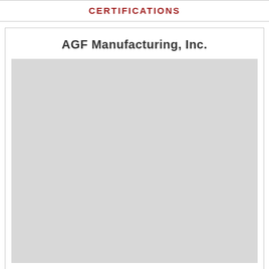CERTIFICATIONS
AGF Manufacturing, Inc.
[Figure (other): Gray placeholder rectangle representing a certification document image for AGF Manufacturing, Inc.]